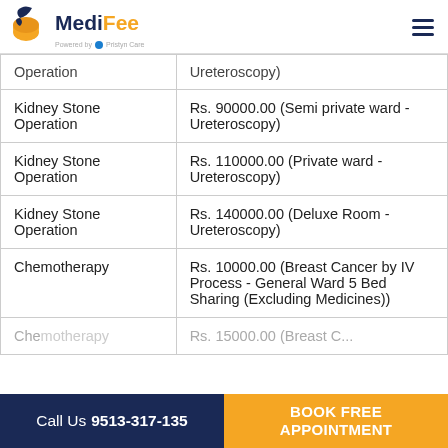MediFee - Powered by Pristyn Care
| Procedure | Cost |
| --- | --- |
| Operation | Ureteroscopy) |
| Kidney Stone Operation | Rs. 90000.00 (Semi private ward - Ureteroscopy) |
| Kidney Stone Operation | Rs. 110000.00 (Private ward - Ureteroscopy) |
| Kidney Stone Operation | Rs. 140000.00 (Deluxe Room - Ureteroscopy) |
| Chemotherapy | Rs. 10000.00 (Breast Cancer by IV Process - General Ward 5 Bed Sharing (Excluding Medicines)) |
| Chemotherapy | Rs. 15000.00 (Breast C... |
Call Us 9513-317-135 | BOOK FREE APPOINTMENT